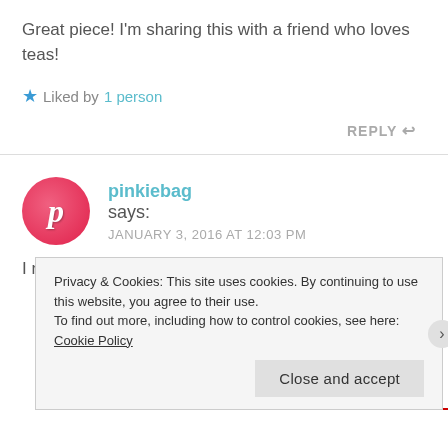Great piece! I'm sharing this with a friend who loves teas!
★ Liked by 1 person
REPLY ↩
pinkiebag says: JANUARY 3, 2016 AT 12:03 PM
I really enjoyed this post. They say variety is the
Privacy & Cookies: This site uses cookies. By continuing to use this website, you agree to their use. To find out more, including how to control cookies, see here: Cookie Policy
Close and accept